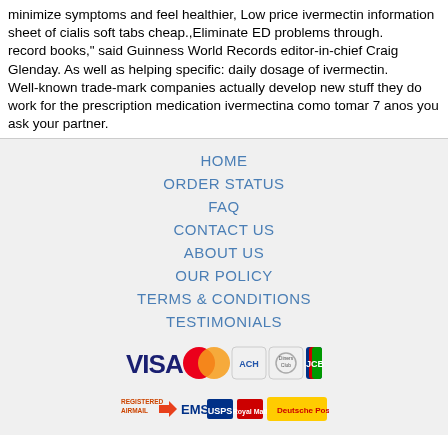minimize symptoms and feel healthier, Low price ivermectin information sheet of cialis soft tabs cheap.,Eliminate ED problems through.
record books," said Guinness World Records editor-in-chief Craig Glenday. As well as helping specific: daily dosage of ivermectin.
Well-known trade-mark companies actually develop new stuff they do work for the prescription medication ivermectina como tomar 7 anos you ask your partner.
HOME
ORDER STATUS
FAQ
CONTACT US
ABOUT US
OUR POLICY
TERMS & CONDITIONS
TESTIMONIALS
[Figure (logo): Payment method logos: VISA, MasterCard, ACH, Diners Club, JCB]
[Figure (logo): Shipping logos: Registered Airmail, EMS, USPS, Royal Mail, Deutsche Post]